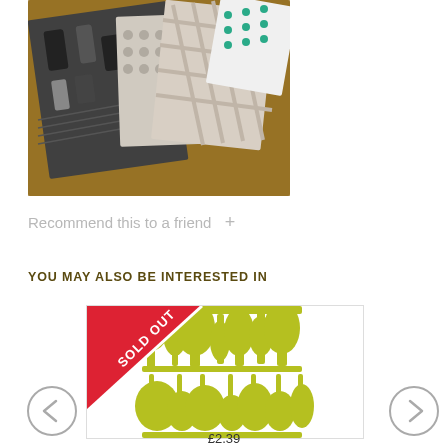[Figure (photo): Photo of several folded fabric swatches with various patterns including geometric black/white designs, grid/plaid, dots, and stripes arranged on a wooden surface]
Recommend this to a friend  +
YOU MAY ALSO BE INTERESTED IN
[Figure (photo): Product image showing yellow-green silhouettes of bottles and vases on white background, with a red 'SOLD OUT' diagonal banner in the top-left corner]
£2.39